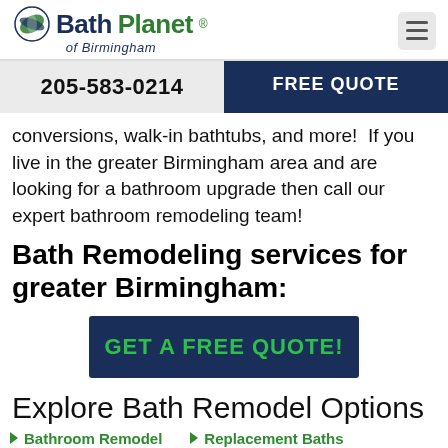Bath Planet of Birmingham
205-583-0214   FREE QUOTE
conversions, walk-in bathtubs, and more!  If you live in the greater Birmingham area and are looking for a bathroom upgrade then call our expert bathroom remodeling team!
Bath Remodeling services for greater Birmingham:
GET A FREE QUOTE!
Explore Bath Remodel Options
Bathroom Remodel
Replacement Baths